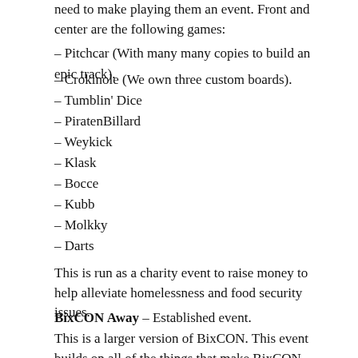need to make playing them an event. Front and center are the following games:
– Pitchcar (With many many copies to build an epic track).
– Crokinole (We own three custom boards).
– Tumblin' Dice
– PiratenBillard
– Weykick
– Klask
– Bocce
– Kubb
– Molkky
– Darts
This is run as a charity event to raise money to help alleviate homelessness and food security issues.
BixCON Away – Established event.
This is a larger version of BixCON. This event builds on all of the things that make BixCON successful and is a larger